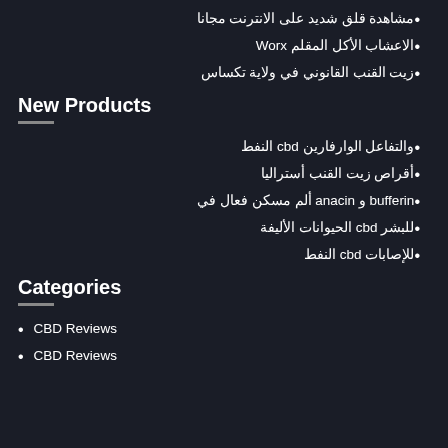مشاهدة قلق شديد على الانترنت مجانا
الاعشاب الأكل المقلم Worx
زيت القنب القانوني في ولاية تكساس
New Products
والتفاعل الوارفارين cbd النفط
أقراص زيت القنب أستراليا
bufferin و anacin ألم مسكن فعال في
للبشر cbd الحيوانات الأليفة
للإصابات cbd النفط
Categories
CBD Reviews
CBD Reviews